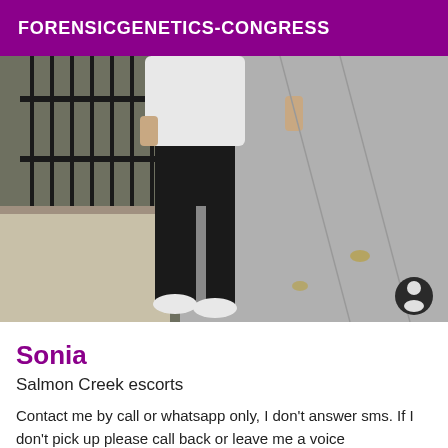FORENSICGENETICS-CONGRESS
[Figure (photo): A person wearing black pants, a white top, and white sneakers standing on a sidewalk next to an iron fence. Only the torso and legs are visible. A dark circular profile icon is visible in the bottom right corner of the image.]
Sonia
Salmon Creek escorts
Contact me by call or whatsapp only, I don't answer sms. If I don't pick up please call back or leave me a voice